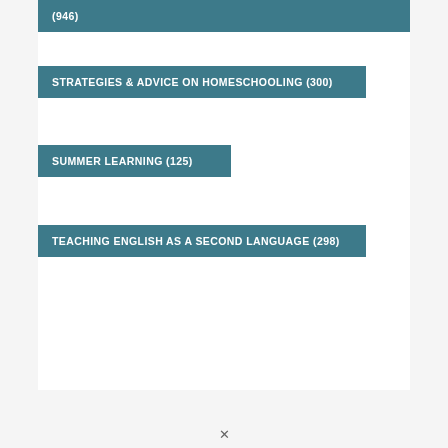(946)
STRATEGIES & ADVICE ON HOMESCHOOLING (300)
SUMMER LEARNING (125)
TEACHING ENGLISH AS A SECOND LANGUAGE (298)